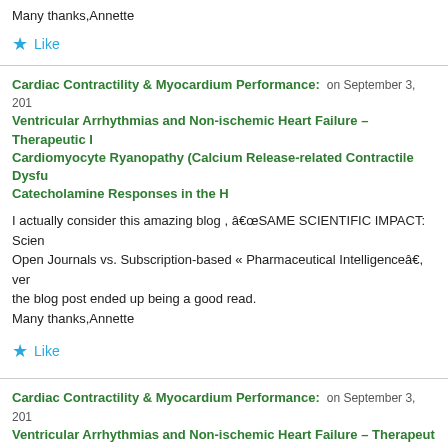Many thanks,Annette
★ Like
Cardiac Contractility & Myocardium Performance: on September 3, 201… Ventricular Arrhythmias and Non-ischemic Heart Failure – Therapeutic … Cardiomyocyte Ryanopathy (Calcium Release-related Contractile Dysfu… Catecholamine Responses in the H
I actually consider this amazing blog , â€œSAME SCIENTIFIC IMPACT: Scien… Open Journals vs. Subscription-based « Pharmaceutical Intelligenceâ€, very… the blog post ended up being a good read.
Many thanks,Annette
★ Like
Cardiac Contractility & Myocardium Performance: on September 3, 201… Ventricular Arrhythmias and Non-ischemic Heart Failure – Therapeut…
[Figure (infographic): Ulta Beauty advertisement banner with makeup imagery and SHOP NOW call to action]
Advertisements